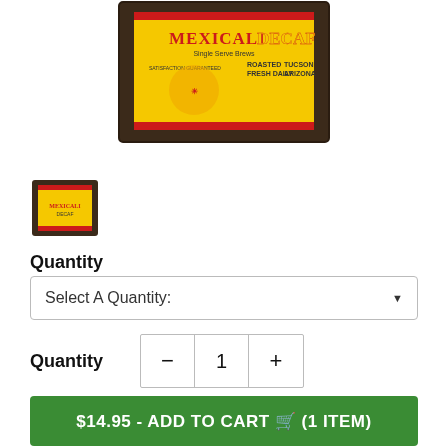[Figure (photo): Main product image of Mexicali Decaf Single Serve Brews coffee box with yellow and red label in dark wood box]
[Figure (photo): Thumbnail image of Mexicali Decaf coffee box]
Quantity
Select A Quantity:
Quantity
$14.95 - ADD TO CART (1 ITEM)